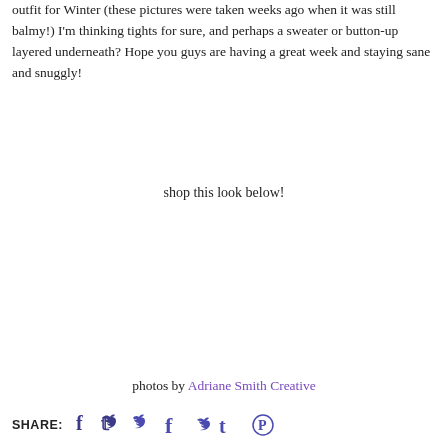outfit for Winter (these pictures were taken weeks ago when it was still balmy!) I'm thinking tights for sure, and perhaps a sweater or button-up layered underneath? Hope you guys are having a great week and staying sane and snuggly!
shop this look below!
photos by Adriane Smith Creative
SHARE: